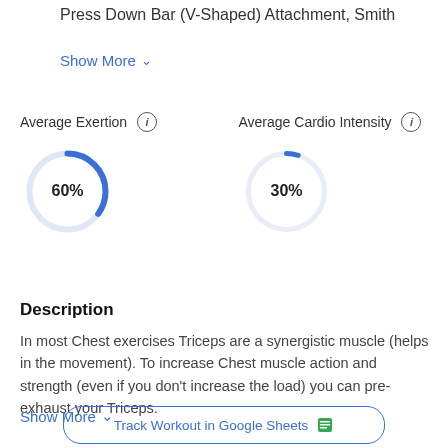Press Down Bar (V-Shaped) Attachment, Smith
Show More ∨
Average Exertion ⓘ
[Figure (donut-chart): Average Exertion]
Average Cardio Intensity ⓘ
[Figure (donut-chart): Average Cardio Intensity]
Description
In most Chest exercises Triceps are a synergistic muscle (helps in the movement). To increase Chest muscle action and strength (even if you don't increase the load) you can pre-exhaust your Triceps.
Show More ∨
Track Workout in Google Sheets